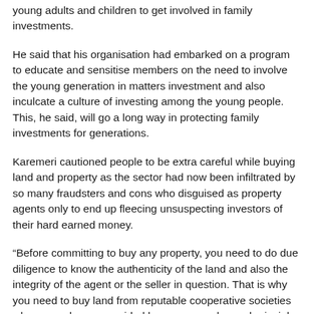young adults and children to get involved in family investments.
He said that his organisation had embarked on a program to educate and sensitise members on the need to involve the young generation in matters investment and also inculcate a culture of investing among the young people. This, he said, will go a long way in protecting family investments for generations.
Karemeri cautioned people to be extra careful while buying land and property as the sector had now been infiltrated by so many fraudsters and cons who disguised as property agents only to end up fleecing unsuspecting investors of their hard earned money.
“Before committing to buy any property, you need to do due diligence to know the authenticity of the land and also the integrity of the agent or the seller in question. That is why you need to buy land from reputable cooperative societies where members are guided by common rules and principles of operation,” he said.